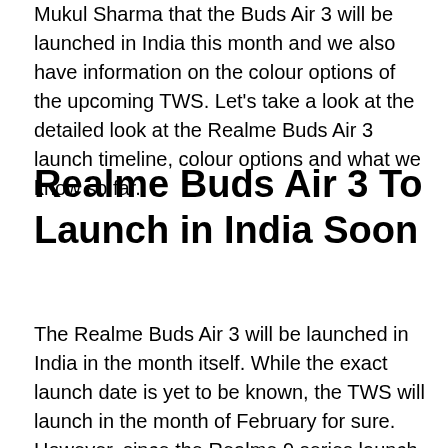Mukul Sharma that the Buds Air 3 will be launched in India this month and we also have information on the colour options of the upcoming TWS. Let's take a look at the detailed look at the Realme Buds Air 3 launch timeline, colour options and what we know so far.
Realme Buds Air 3 To Launch in India Soon
The Realme Buds Air 3 will be launched in India in the month itself. While the exact launch date is yet to be known, the TWS will launch in the month of February for sure. However, since the Realme 9 series launch is also expected to happen on February 16, we might witness the launch of the Buds Air on the same stage. On the other hand, the global launch for the Realme 9